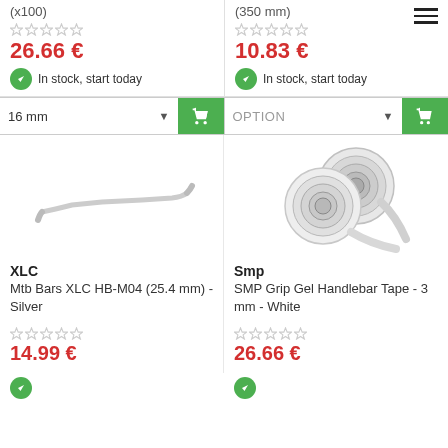(x100)
(350 mm)
26.66 €
10.83 €
In stock, start today
In stock, start today
16 mm
OPTION
[Figure (photo): Silver MTB handlebar - XLC HB-M04 product photo on white background]
[Figure (photo): Two rolls of white SMP Grip Gel Handlebar Tape on white background]
XLC
Mtb Bars XLC HB-M04 (25.4 mm) - Silver
Smp
SMP Grip Gel Handlebar Tape - 3 mm - White
14.99 €
26.66 €